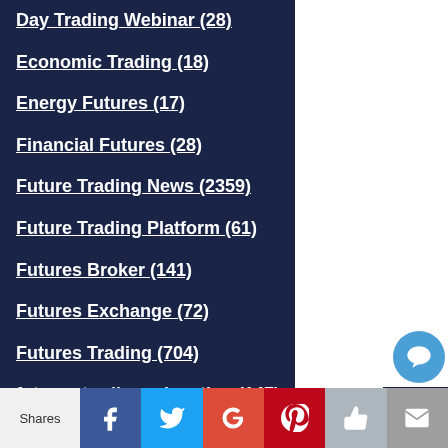Day Trading Webinar (28)
Economic Trading (18)
Energy Futures (17)
Financial Futures (28)
Future Trading News (2359)
Future Trading Platform (61)
Futures Broker (141)
Futures Exchange (72)
Futures Trading (704)
futures trading education (147)
Gold Futures (13)
Grain Futures (20)
Index Futures (78)
Indices (61)
[Figure (other): Sidebar icons: phone, search, chart, and chat bubble on dark navy background]
Shares | Facebook | Twitter | Google+ | Pinterest | Like | Email